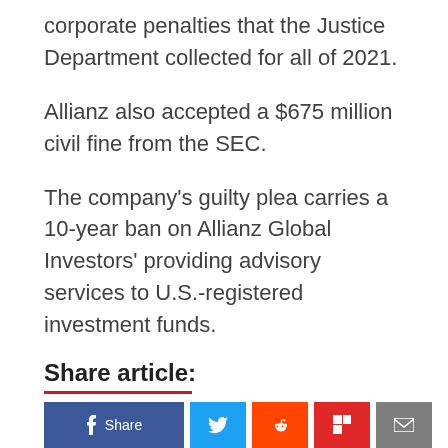corporate penalties that the Justice Department collected for all of 2021.
Allianz also accepted a $675 million civil fine from the SEC.
The company's guilty plea carries a 10-year ban on Allianz Global Investors' providing advisory services to U.S.-registered investment funds.
Share article: